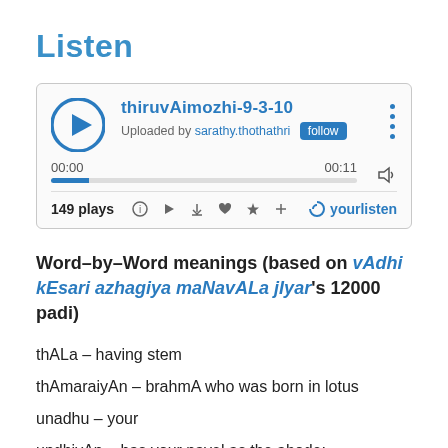Listen
[Figure (screenshot): Audio player widget for thiruvAimozhi-9-3-10, uploaded by sarathy.thothathri, showing 00:00 / 00:11 progress bar, 149 plays, yourlisten branding]
Word-by-Word meanings (based on vAdhi kEsari azhagiya maNavALa jIyar's 12000 padi)
thALa – having stem
thAmaraiyAn – brahmA who was born in lotus
unadhu – your
undhiyAn – has your navel as the abode;